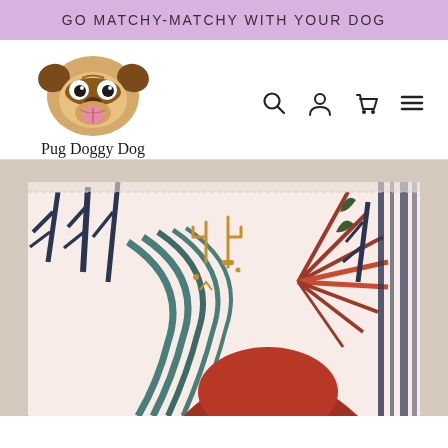GO MATCHY-MATCHY WITH YOUR DOG
[Figure (logo): Pug Doggy Dog logo with cartoon pug face and handwritten brand name]
[Figure (photo): Close-up product photo of a fabric item (appears to be a dog bandana or collar) with colorful abstract botanical/nature print pattern including dark navy, teal, rust, and gold plant and sun motifs on a light pink/white background]